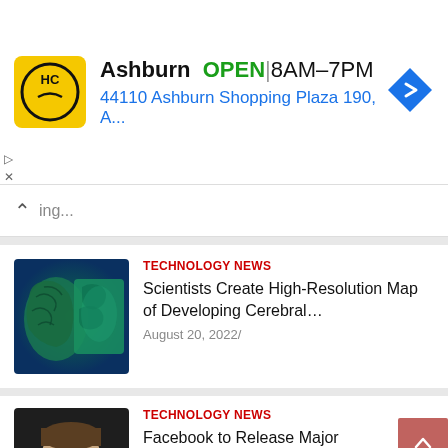[Figure (infographic): Advertisement banner for HC (Honest Cash or similar) store in Ashburn. Yellow logo with HC text. Shows OPEN status, hours 8AM-7PM, address 44110 Ashburn Shopping Plaza 190, A... with navigation arrow icon.]
Ashburn  OPEN  |  8AM–7PM
44110 Ashburn Shopping Plaza 190, A...
ing...
TECHNOLOGY NEWS
Scientists Create High-Resolution Map of Developing Cerebral…
August 20, 2022/
TECHNOLOGY NEWS
Facebook to Release Major Updates to Horizon Worlds: Zuckerb…
August 20, 2022/
TECHNOLOGY NEWS